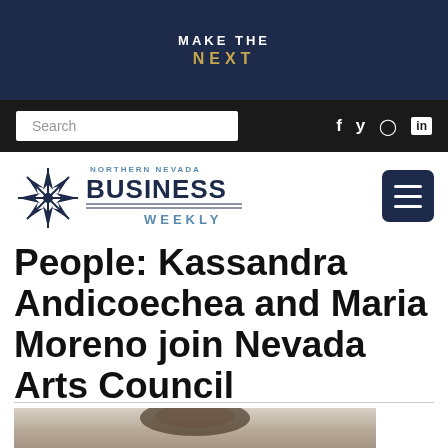[Figure (screenshot): Top banner with dark navy background, text 'MAKE THE' in white uppercase and 'NEXT' in gold uppercase letters]
Search  f  y  in
[Figure (logo): Northern Nevada Business Weekly logo with star/compass rose icon and text 'NORTHERN NEVADA BUSINESS WEEKLY']
People: Kassandra Andicoechea and Maria Moreno join Nevada Arts Council
[Figure (photo): Photo of a woman, partially visible, with dark hair, shown from shoulders up]